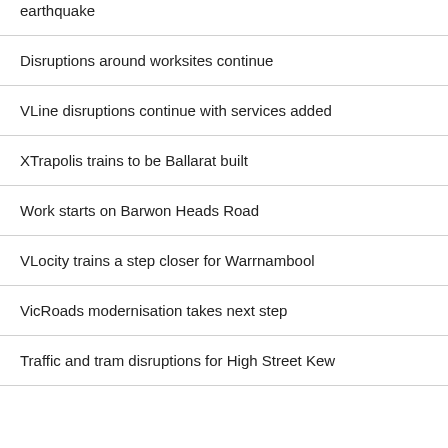earthquake
Disruptions around worksites continue
VLine disruptions continue with services added
XTrapolis trains to be Ballarat built
Work starts on Barwon Heads Road
VLocity trains a step closer for Warrnambool
VicRoads modernisation takes next step
Traffic and tram disruptions for High Street Kew